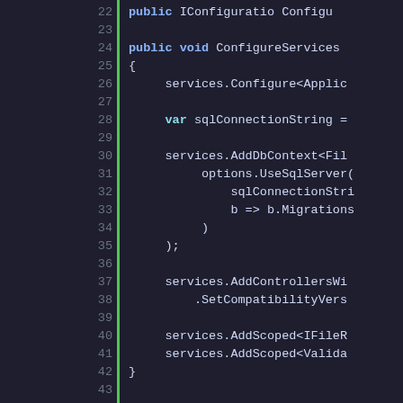[Figure (screenshot): Code editor screenshot showing C# source code lines 22-47 with line numbers on the left, a green vertical bar separator, and syntax-highlighted code on a dark background. Keywords like 'public', 'void', 'var', 'if' are highlighted in blue/cyan. Code shows ConfigureServices and Configure methods with services configuration calls.]